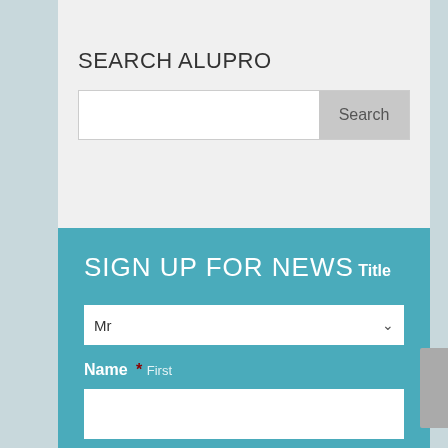SEARCH ALUPRO
[Figure (screenshot): Search input bar with text field and Search button]
SIGN UP FOR NEWS
Title
Mr (dropdown)
Name *
First